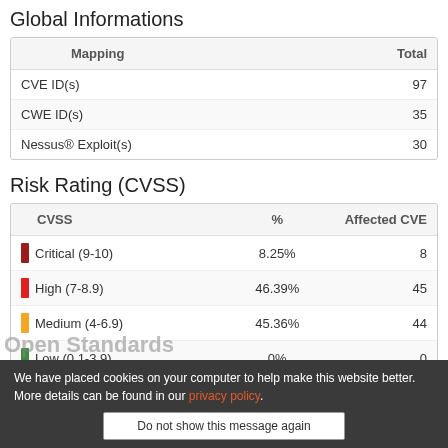Global Informations
| Mapping | Total |
| --- | --- |
| CVE ID(s) | 97 |
| CWE ID(s) | 35 |
| Nessus® Exploit(s) | 30 |
Risk Rating (CVSS)
| CVSS | % | Affected CVE |
| --- | --- | --- |
| Critical (9-10) | 8.25% | 8 |
| High (7-8.9) | 46.39% | 45 |
| Medium (4-6.9) | 45.36% | 44 |
| Low (0.1-3.9) | 0% | 0 |
| Pending... (0) | 0% | 0 |
We have placed cookies on your computer to help make this website better. More details can be found in our privacy policy.
Do not show this message again